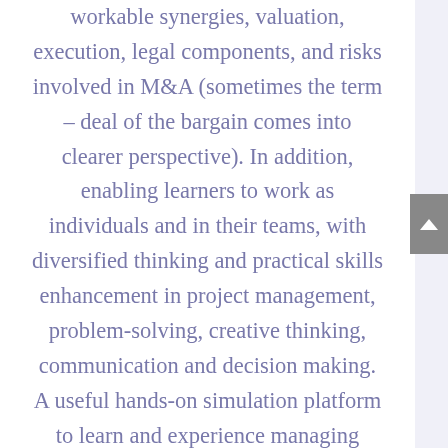workable synergies, valuation, execution, legal components, and risks involved in M&A (sometimes the term – deal of the bargain comes into clearer perspective). In addition, enabling learners to work as individuals and in their teams, with diversified thinking and practical skills enhancement in project management, problem-solving, creative thinking, communication and decision making. A useful hands-on simulation platform to learn and experience managing uncertainty in a complex